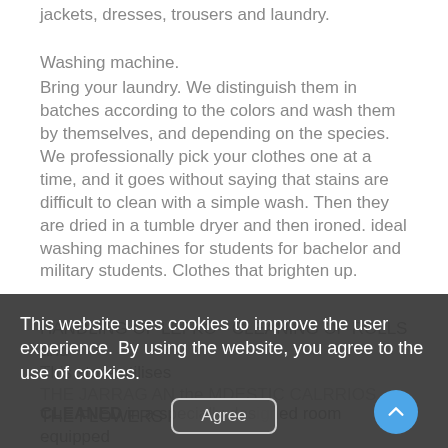jackets, dresses, trousers and laundry.
Washing machine.
Bring your laundry. We distinguish them in batches according to the colors and wash them by themselves, and depending on the species. We professionally pick your clothes one at a time, and it goes without saying that stains are difficult to clean with a simple wash. Then they are dried in a tumble dryer and then ironed. ideal washing machines for students for bachelor and military students. Clothes that brighten up.
HANDLING OF LEFKO - CLEANING OF ROLLS and This store utilises...
This website uses cookies to improve the user experience. By using the website, you agree to the use of cookies.
CLEANED in a specially designed room equipped with the finest cleaning machines, safe disinfecting...